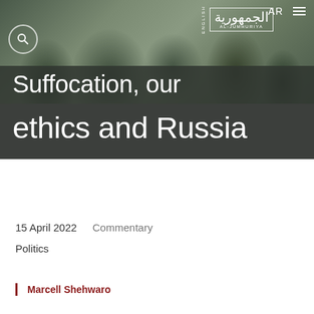[Figure (photo): Background photo of people (figures in jackets) outdoors, partially obscured by dark overlay. Website header area with navigation elements including AR language toggle, hamburger menu, search icon, and Al-Jumhuriya logo.]
Suffocation, our ethics and Russia
15 April 2022   Commentary
Politics
Marcell Shehwaro